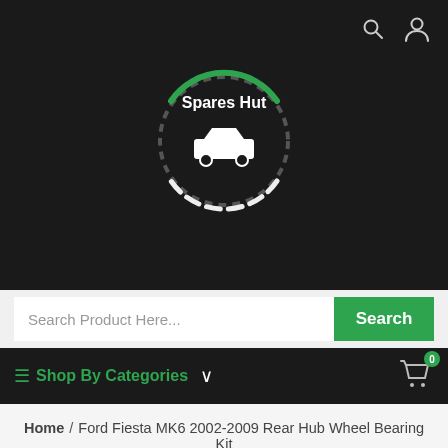[Figure (logo): Spares Hut logo on dark background with white car and circular green/white ring]
Search Product Here...
Search
≡ Shop By Categories
Home / Ford Fiesta MK6 2002-2009 Rear Hub Wheel Bearing Kit
[Figure (photo): Partial product image showing a silver/chrome wheel hub bearing kit on white background]